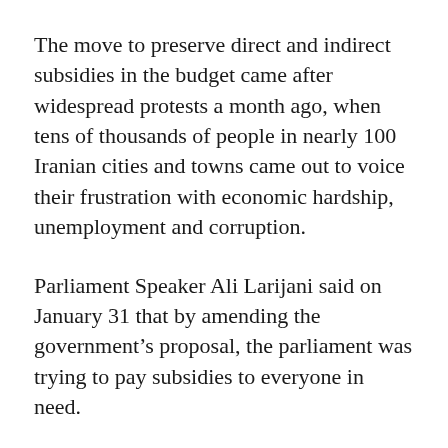The move to preserve direct and indirect subsidies in the budget came after widespread protests a month ago, when tens of thousands of people in nearly 100 Iranian cities and towns came out to voice their frustration with economic hardship, unemployment and corruption.
Parliament Speaker Ali Larijani said on January 31 that by amending the government's proposal, the parliament was trying to pay subsidies to everyone in need.
Legislators were particularly against the budget's plan to increase the price of fuel and other resources to generate revenues for job creation and cash handouts, according to the state-run Mehr News Agency (MNA).